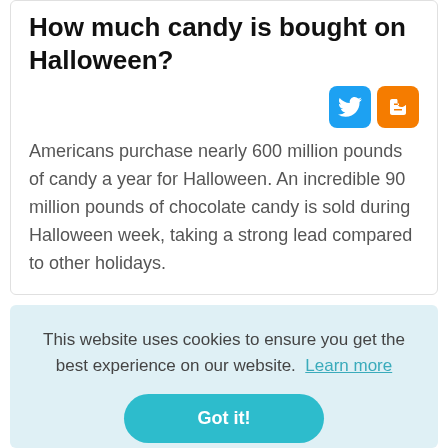How much candy is bought on Halloween?
[Figure (logo): Twitter and Blogger social sharing icons]
Americans purchase nearly 600 million pounds of candy a year for Halloween. An incredible 90 million pounds of chocolate candy is sold during Halloween week, taking a strong lead compared to other holidays.
This website uses cookies to ensure you get the best experience on our website. Learn more
Got it!
[Figure (logo): Twitter and Blogger social sharing icons (partial, bottom)]